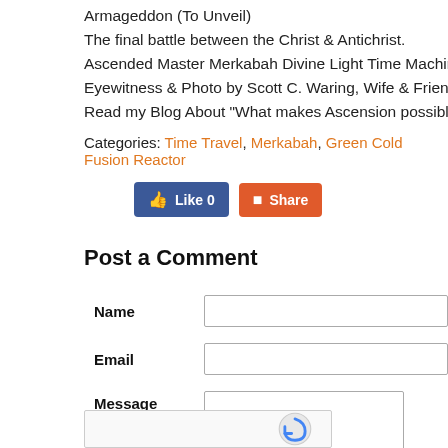Armageddon (To Unveil)
The final battle between the Christ & Antichrist.
Ascended Master Merkabah Divine Light Time Machine Space Cra...
Eyewitness & Photo by Scott C. Waring, Wife & Friend.  Cypress T...
Read my Blog About "What makes Ascension possible?"
Categories: Time Travel, Merkabah, Green Cold Fusion Reactor
[Figure (screenshot): Facebook Like button (blue, showing Like 0) and Share button (orange-red)]
Post a Comment
Name field, Email field, Message textarea, reCAPTCHA box